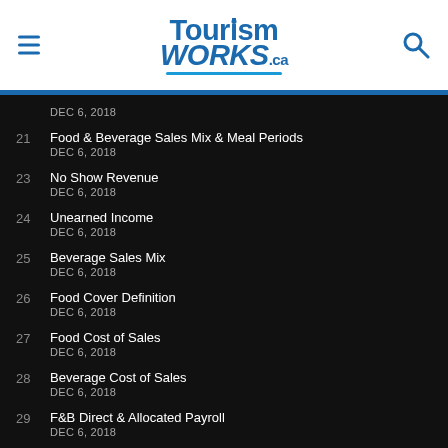[Figure (logo): TourismWorks.ca logo with hamburger menu icon on left and search icon on right]
DEC 6, 2018
21  Food & Beverage Sales Mix & Meal Periods
DEC 6, 2018
23  No Show Revenue
DEC 6, 2018
24  Unearned Income
DEC 6, 2018
25  Beverage Sales Mix
DEC 6, 2018
26  Food Cover Definition
DEC 6, 2018
27  Food Cost of Sales
DEC 6, 2018
28  Beverage Cost of Sales
DEC 6, 2018
29  F&B Direct & Allocated Payroll
DEC 6, 2018
30  Contribution Margin